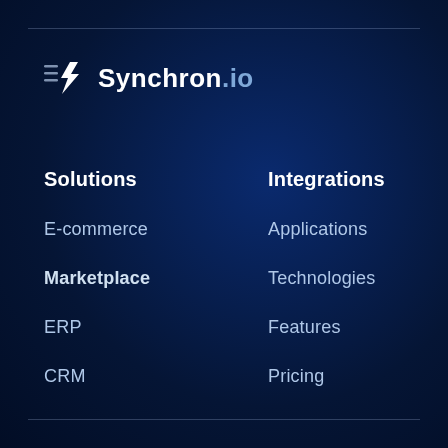Synchron.io
Solutions
E-commerce
Marketplace
ERP
CRM
Integrations
Applications
Technologies
Features
Pricing